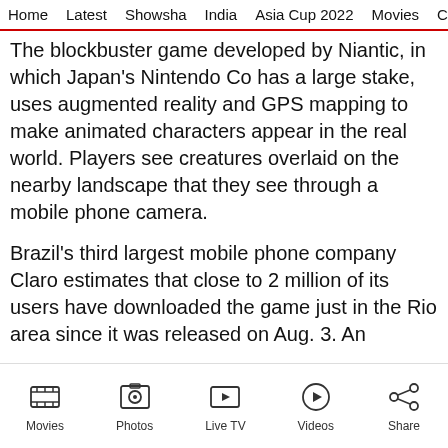Home | Latest | Showsha | India | Asia Cup 2022 | Movies | Cricket
The blockbuster game developed by Niantic, in which Japan's Nintendo Co has a large stake, uses augmented reality and GPS mapping to make animated characters appear in the real world. Players see creatures overlaid on the nearby landscape that they see through a mobile phone camera.
Brazil's third largest mobile phone company Claro estimates that close to 2 million of its users have downloaded the game just in the Rio area since it was released on Aug. 3. An
Movies | Photos | Live TV | Videos | Share